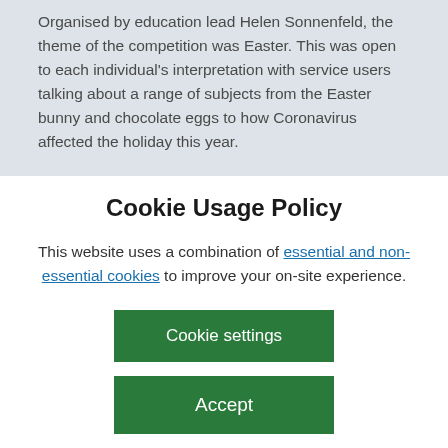Organised by education lead Helen Sonnenfeld, the theme of the competition was Easter. This was open to each individual's interpretation with service users talking about a range of subjects from the Easter bunny and chocolate eggs to how Coronavirus affected the holiday this year.
Cookie Usage Policy
This website uses a combination of essential and non-essential cookies to improve your on-site experience.
Cookie settings
Accept